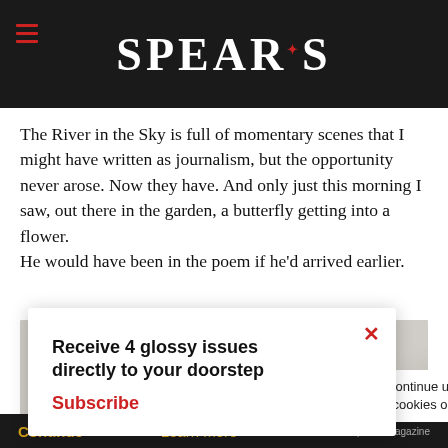SPEAR'S
The River in the Sky is full of momentary scenes that I might have written as journalism, but the opportunity never arose. Now they have. And only just this morning I saw, out there in the garden, a butterfly getting into a flower.
He would have been in the poem if he'd arrived earlier.
[Figure (photo): Painting or artwork showing a red poppy or circular red flower shape on a light grey/beige background]
Receive 4 glossy issues directly to your doorstep
Subscribe
continue using our all cookies on this
Continue   Learn more   © 2022 Spear's Magazine